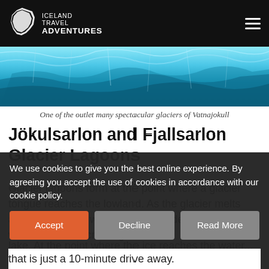Iceland Travel Adventures
[Figure (photo): Close-up photograph of blue glacier ice formations of Vatnajokull]
One of the outlet many spectacular glaciers of Vatnajokull
Jökulsarlon and Fjallsarlon Glacier Lagoons
Glacier lagoons form at the point where a glacier tongue reaches the lowland. As the glacier melts and retreats, the water fills up the depression that was left behind, creating a lake. At the point where the ice reaches the water...
We use cookies to give you the best online experience. By agreeing you accept the use of cookies in accordance with our cookie policy.
that is just a 10-minute drive away.